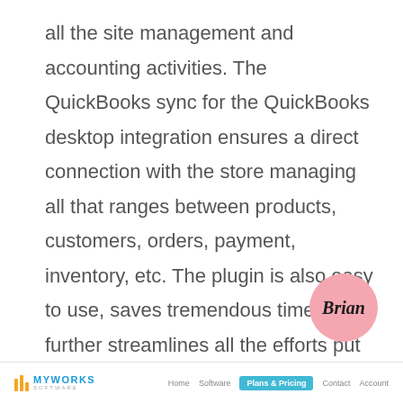all the site management and accounting activities. The QuickBooks sync for the QuickBooks desktop integration ensures a direct connection with the store managing all that ranges between products, customers, orders, payment, inventory, etc. The plugin is also easy to use, saves tremendous time and further streamlines all the efforts put into store management.
[Figure (illustration): Pink circle with italic bold text 'Brian' inside]
MYWORKS SOFTWARE | Home | Software | Plans & Pricing | Contact | Account